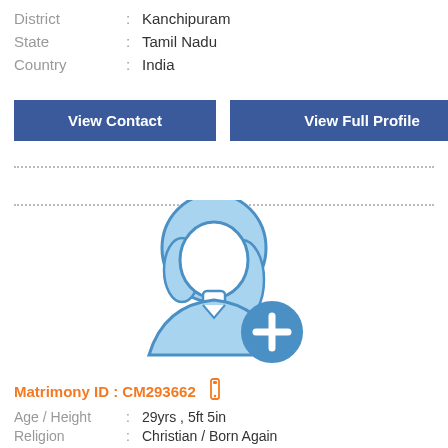District : Kanchipuram
State : Tamil Nadu
Country : India
View Contact | View Full Profile
[Figure (illustration): Female profile placeholder icon with a blue circular plus/add button in the lower right corner]
Matrimony ID : CM293662
Age / Height : 29yrs , 5ft 5in
Religion : Christian / Born Again